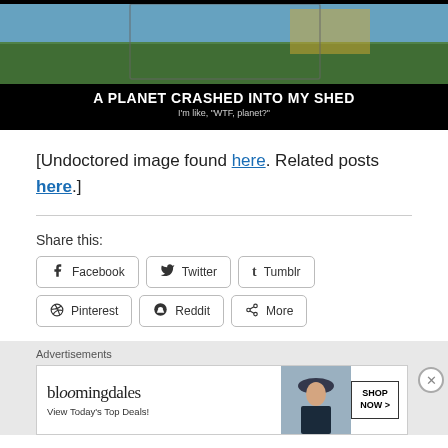[Figure (photo): Meme image with dark background showing a landscape photo at top and text 'A PLANET CRASHED INTO MY SHED' with subtitle 'I'm like, "WTF, planet?"']
[Undoctored image found here. Related posts here.]
Share this:
Facebook  Twitter  Tumblr  Pinterest  Reddit  More
[Figure (infographic): Bloomingdale's advertisement banner with text 'View Today's Top Deals!' and 'SHOP NOW >']